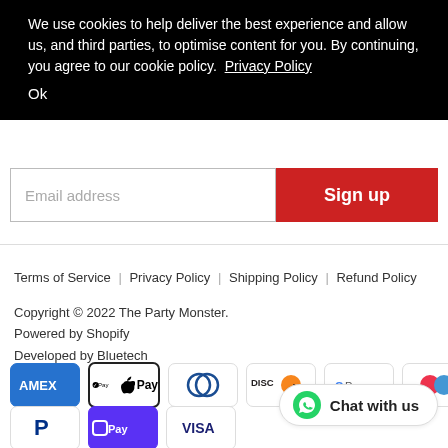We use cookies to help deliver the best experience and allow us, and third parties, to optimise content for you. By continuing, you agree to our cookie policy. Privacy Policy
Ok
Email address
Sign up
Terms of Service | Privacy Policy | Shipping Policy | Refund Policy
Copyright © 2022 The Party Monster.
Powered by Shopify
Developed by Bluetech
[Figure (logo): Payment method icons: Amex, Apple Pay, Diners Club, Discover, Google Pay, two circle logo icons, Mastercard]
[Figure (logo): Payment method icons: PayPal, Shop/OPay, Visa]
[Figure (logo): Chat with us WhatsApp button]